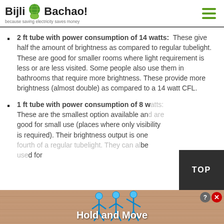Bijli Bachao! because saving electricity saves money
2 ft tube with power consumption of 14 watts: These give half the amount of brightness as compared to regular tubelight. These are good for smaller rooms where light requirement is less or are less visited. Some people also use them in bathrooms that require more brightness. These provide more brightness (almost double) as compared to a 14 watt CFL.
1 ft tube with power consumption of 8 w... These are the smallest option available an... good for small use (places where only visibility is required). Their brightness output is one ... be ... d for
[Figure (screenshot): Advertisement banner at the bottom showing stick figures with text 'Hold and Move' and a TOP button overlay]